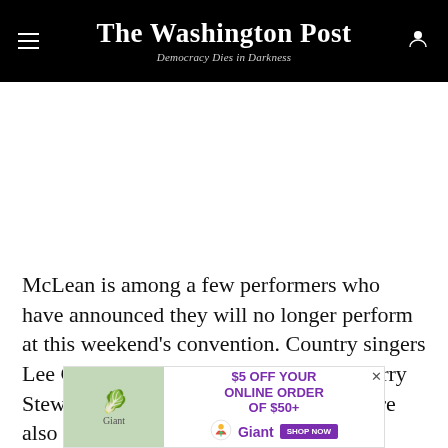The Washington Post — Democracy Dies in Darkness
[Figure (other): Advertisement placeholder (white space)]
McLean is among a few performers who have announced they will no longer perform at this weekend's convention. Country singers Lee Greenwood and Larry Gatlin and Larry Stewart of the country band Brothers Here also said Thursday they
[Figure (other): Bottom banner advertisement: Giant grocery — $5 OFF YOUR ONLINE ORDER OF $50+ — SHOP NOW]